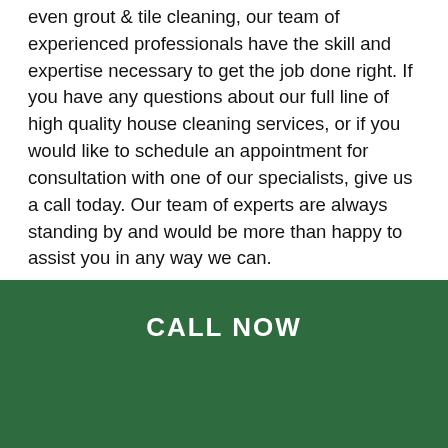even grout & tile cleaning, our team of experienced professionals have the skill and expertise necessary to get the job done right. If you have any questions about our full line of high quality house cleaning services, or if you would like to schedule an appointment for consultation with one of our specialists, give us a call today. Our team of experts are always standing by and would be more than happy to assist you in any way we can.
Bristol Carpet Cleaning
Because of the heavy traffic that your carpets receive on a daily basis, it is inevitable that they are going to collect their fair share of dust, dirt, and other debris over time, but unfortunately, this can negatively impact your home in more ways than one. Dirt trapped in your carpets can not only cause damage to your carpet fibers as small dirty particles continually cut into them over time as people continue to walk over the surface, but it can also drastically reduce the quality of your indoor air as well. Dirty carpets act like a sponge...
CALL NOW